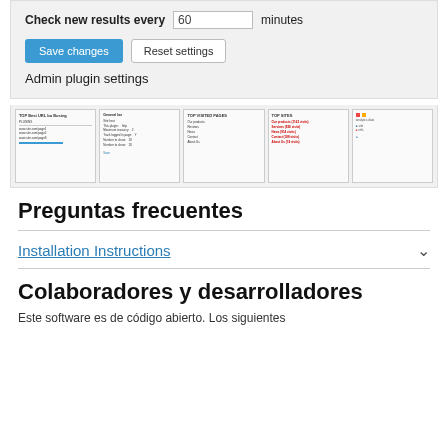Check new results every 60 minutes
Save changes | Reset settings
Admin plugin settings
[Figure (screenshot): Five thumbnail screenshots of plugin admin pages showing top URLs, settings forms, top visited pages, top sites with red link text, and analytics data]
Preguntas frecuentes
Installation Instructions
Colaboradores y desarrolladores
Este software es de código abierto. Los siguientes